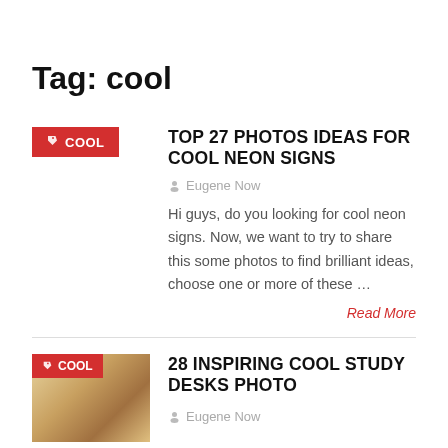Tag: cool
TOP 27 PHOTOS IDEAS FOR COOL NEON SIGNS
Eugene Now
Hi guys, do you looking for cool neon signs. Now, we want to try to share this some photos to find brilliant ideas, choose one or more of these …
Read More
28 INSPIRING COOL STUDY DESKS PHOTO
Eugene Now